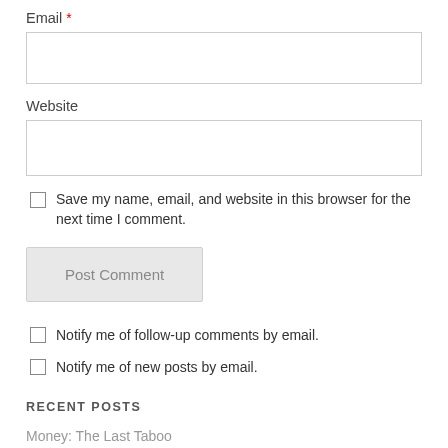Email *
Website
Save my name, email, and website in this browser for the next time I comment.
Post Comment
Notify me of follow-up comments by email.
Notify me of new posts by email.
RECENT POSTS
Money: The Last Taboo